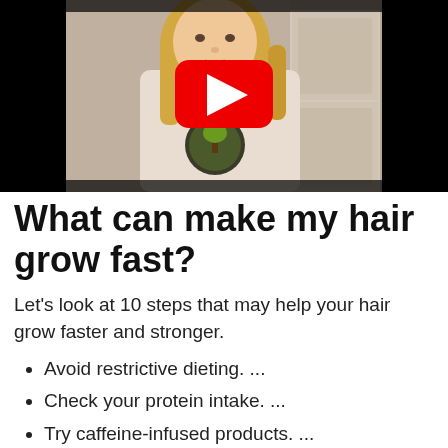[Figure (screenshot): Video thumbnail showing a woman with blonde hair wearing a white t-shirt with a logo, standing in front of a door. A YouTube play button (red rectangle with white triangle) is overlaid in the center.]
What can make my hair grow fast?
Let's look at 10 steps that may help your hair grow faster and stronger.
Avoid restrictive dieting. ...
Check your protein intake. ...
Try caffeine-infused products. ...
Explore essential oils. ...
Boost your nutrient profile...